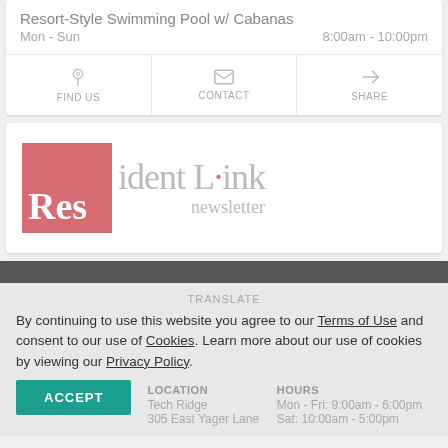Resort-Style Swimming Pool w/ Cabanas
Mon - Sun   8:00am - 10:00pm
FIND US  CONTACT  SHARE
[Figure (logo): Resident Link newsletter logo — pink/salmon square with 'Res' in white overlapping gray 'ident Link' text and 'newsletter' below]
TRANSLATE
By continuing to use this website you agree to our Terms of Use and consent to our use of Cookies. Learn more about our use of cookies by viewing our Privacy Policy.
ACCEPT
LOCATION   HOURS
Tech Ridge   Mon - Fri: 9:00am - 6:00pm
305 East Yager Lane   Sat: 10:00am - 5:00pm